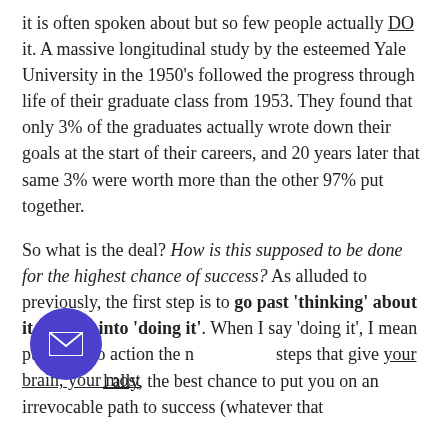it is often spoken about but so few people actually DO it. A massive longitudinal study by the esteemed Yale University in the 1950's followed the progress through life of their graduate class from 1953. They found that only 3% of the graduates actually wrote down their goals at the start of their careers, and 20 years later that same 3% were worth more than the other 97% put together.
So what is the deal? How is this supposed to be done for the highest chance of success? As alluded to previously, the first step is to go past 'thinking' about it and get into 'doing it'. When I say 'doing it', I mean putting into action the necessary steps that give your brain, your most powerful ally, the best chance to put you on an irrevocable path to success (whatever that means to you — whether that be health, i…
[Figure (illustration): Purple circular button with an envelope/mail icon in white, positioned in the lower-left area of the page overlapping the text.]